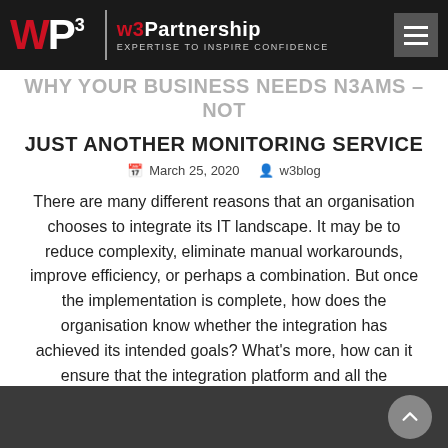w3Partnership — EXPERTISE TO INSPIRE CONFIDENCE
WHY YOUR BUSINESS NEEDS N3AMS – NOT JUST ANOTHER MONITORING SERVICE
March 25, 2020  w3blog
There are many different reasons that an organisation chooses to integrate its IT landscape. It may be to reduce complexity, eliminate manual workarounds, improve efficiency, or perhaps a combination. But once the implementation is complete, how does the organisation know whether the integration has achieved its intended goals? What's more, how can it ensure that the integration platform and all the underlying systems and processes continue to operate at peak...